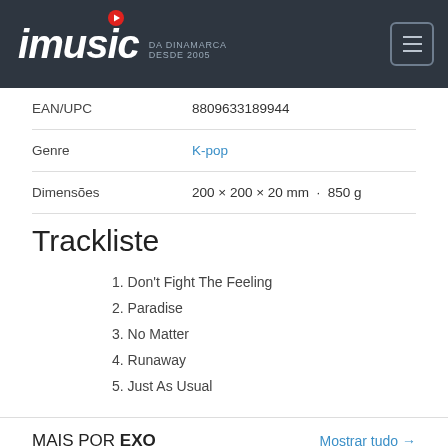imusic DA DINAMARCA DESDE 2005
| EAN/UPC | 8809633189944 |
| Genre | K-pop |
| Dimensões | 200 × 200 × 20 mm · 850 g |
Trackliste
1. Don't Fight The Feeling
2. Paradise
3. No Matter
4. Runaway
5. Just As Usual
MAIS POR EXO  Mostrar tudo →